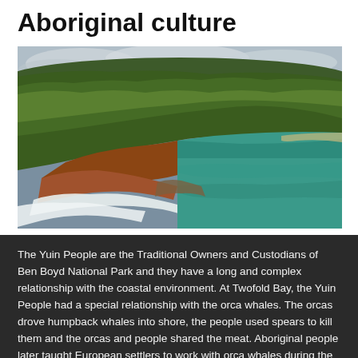Aboriginal culture
[Figure (photo): Aerial view of a forested headland meeting the ocean at Ben Boyd National Park. Dense green tree cover covers the rocky cliffs and coastline, with teal-green ocean water and white surf visible below. Cloudy sky in the background.]
The Yuin People are the Traditional Owners and Custodians of Ben Boyd National Park and they have a long and complex relationship with the coastal environment. At Twofold Bay, the Yuin People had a special relationship with the orca whales. The orcas drove humpback whales into shore, the people used spears to kill them and the orcas and people shared the meat. Aboriginal people later taught European settlers to work with orca whales during the shore-based whaling days of Twofold